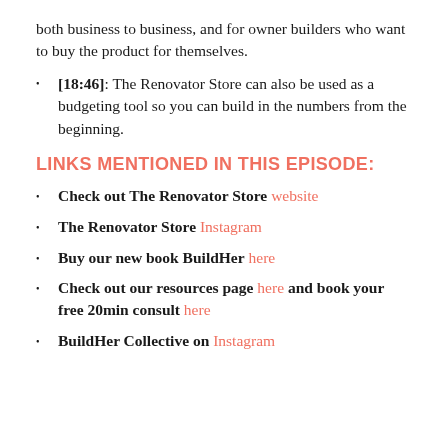both business to business, and for owner builders who want to buy the product for themselves.
[18:46]: The Renovator Store can also be used as a budgeting tool so you can build in the numbers from the beginning.
LINKS MENTIONED IN THIS EPISODE:
Check out The Renovator Store website
The Renovator Store Instagram
Buy our new book BuildHer here
Check out our resources page here and book your free 20min consult here
BuildHer Collective on Instagram